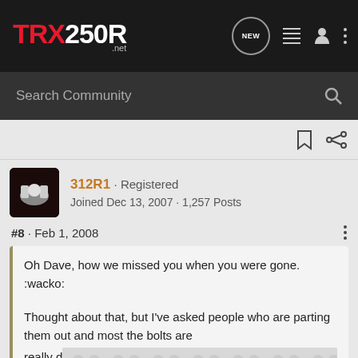TRX250R.net
Search Community
312R1 · Registered
Joined Dec 13, 2007 · 1,257 Posts
#8 · Feb 1, 2008
Oh Dave, how we missed you when you were gone. :wacko:

Thought about that, but I've asked people who are parting them out and most the bolts are
really d
[Figure (photo): Partially visible image with spinner/loading pattern overlay]